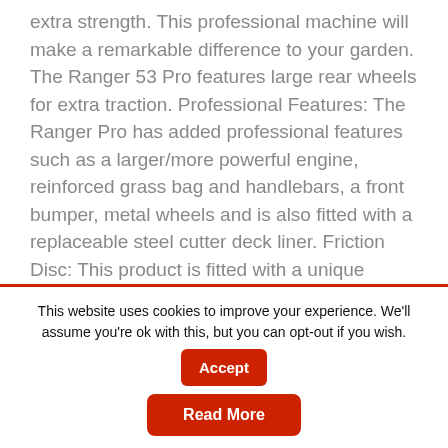extra strength. This professional machine will make a remarkable difference to your garden. The Ranger 53 Pro features large rear wheels for extra traction. Professional Features: The Ranger Pro has added professional features such as a larger/more powerful engine, reinforced grass bag and handlebars, a front bumper, metal wheels and is also fitted with a replaceable steel cutter deck liner. Friction Disc: This product is fitted with a unique cutterbar Friction Disc. This will protect the engine crankshaft from bending should the operator accidently hit a solid object. The machine has a lifetime guarantee against crankshaft bending. Fabric Bag: The
This website uses cookies to improve your experience. We'll assume you're ok with this, but you can opt-out if you wish.
Accept
Read More